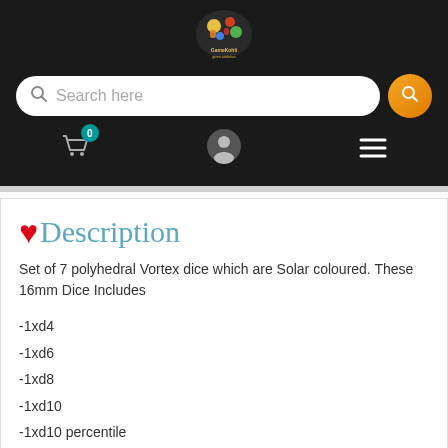[Figure (logo): GameKohli colorful gaming logo with text]
Search here
Description
Set of 7 polyhedral Vortex dice which are Solar coloured. These 16mm Dice Includes
-1xd4
-1xd6
-1xd8
-1xd10
-1xd10 percentile
-1xd12